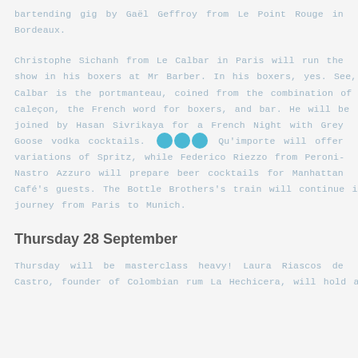bartending gig by Gaël Geffroy from Le Point Rouge in Bordeaux.
Christophe Sichanh from Le Calbar in Paris will run the show in his boxers at Mr Barber. In his boxers, yes. See, Calbar is the portmanteau, coined from the combination of caleçon, the French word for boxers, and bar. He will be joined by Hasan Sivrikaya for a French Night with Grey Goose vodka cocktails. [finally] Qu'importe will offer variations of Spritz, while Federico Riezzo from Peroni-Nastro Azzuro will prepare beer cocktails for Manhattan Café's guests. The Bottle Brothers's train will continue its journey from Paris to Munich.
Thursday 28 September
Thursday will be masterclass heavy! Laura Riascos de Castro, founder of Colombian rum La Hechicera, will hold a